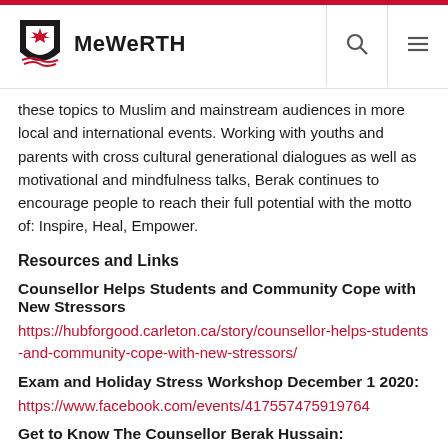MeWeRTH
these topics to Muslim and mainstream audiences in more local and international events. Working with youths and parents with cross cultural generational dialogues as well as motivational and mindfulness talks, Berak continues to encourage people to reach their full potential with the motto of: Inspire, Heal, Empower.
Resources and Links
Counsellor Helps Students and Community Cope with New Stressors
https://hubforgood.carleton.ca/story/counsellor-helps-students-and-community-cope-with-new-stressors/
Exam and Holiday Stress Workshop December 1 2020:
https://www.facebook.com/events/417557475919764
Get to Know The Counsellor Berak Hussain:
https://fb.watch/1TCz3LHrqB/